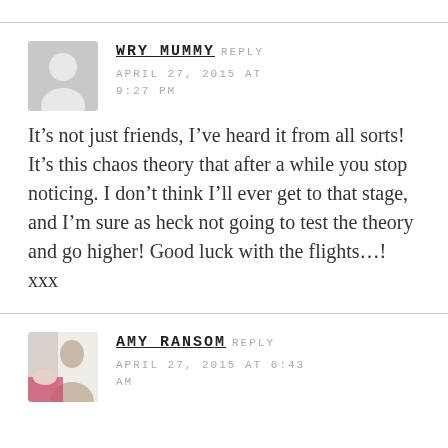WRY MUMMY
APRIL 27, 2015 AT 9:27 PM
It’s not just friends, I’ve heard it from all sorts! It’s this chaos theory that after a while you stop noticing. I don’t think I’ll ever get to that stage, and I’m sure as heck not going to test the theory and go higher! Good luck with the flights…! xxx
AMY RANSOM
APRIL 27, 2015 AT 6:43 AM